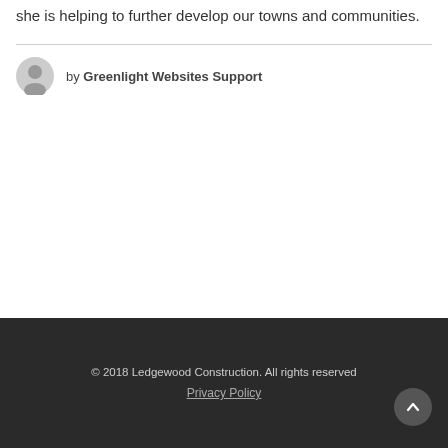she is helping to further develop our towns and communities.
by Greenlight Websites Support
© 2018 Ledgewood Construction. All rights reserved
Privacy Policy